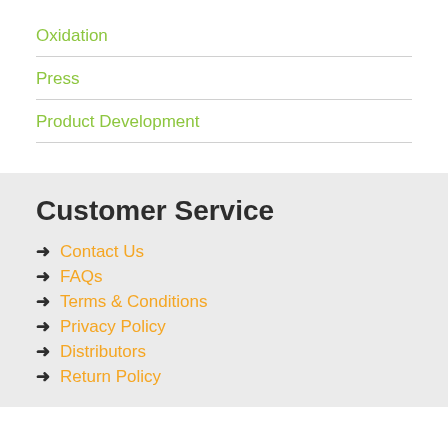Oxidation
Press
Product Development
Customer Service
Contact Us
FAQs
Terms & Conditions
Privacy Policy
Distributors
Return Policy